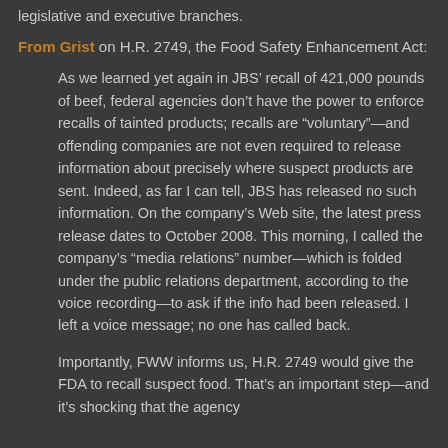legislative and executive branches.
From Grist on H.R. 2749, the Food Safety Enhancement Act:
As we learned yet again in JBS’ recall of 421,000 pounds of beef, federal agencies don’t have the power to enforce recalls of tainted products; recalls are “voluntary”—and offending companies are not even required to release information about precisely where suspect products are sent. Indeed, as far I can tell, JBS has released no such information. On the company’s Web site, the latest press release dates to October 2008. This morning, I called the company’s “media relations” number—which is folded under the public relations department, according to the voice recording—to ask if the info had been released. I left a voice message; no one has called back.
Importantly, FWW informs us, H.R. 2749 would give the FDA to recall suspect food. That’s an important step—and it’s shocking that the agency